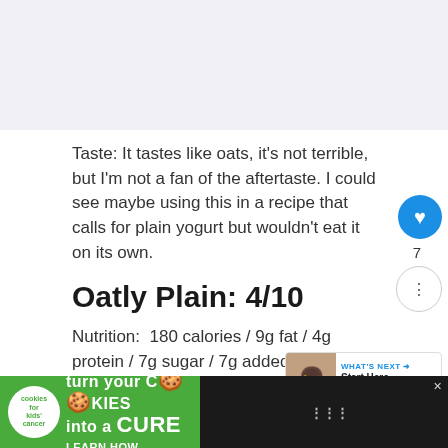Taste: It tastes like oats, it's not terrible, but I'm not a fan of the aftertaste. I could see maybe using this in a recipe that calls for plain yogurt but wouldn't eat it on its own.
Oatly Plain: 4/10
Nutrition:  180 calories / 9g fat / 4g protein / 7g sugar / 7g added sugar
Ingredients: Oatmilk (Water, Oats), Low Erucic
[Figure (infographic): Advertisement banner: cookies for kids cancer - turn your cookies into a CURE LEARN HOW]